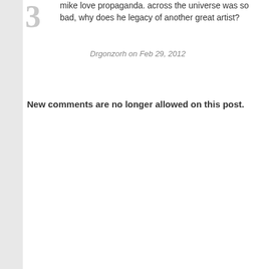mike love propaganda. across the universe was so bad, why does he legacy of another great artist?
Drgonzorh on Feb 29, 2012
New comments are no longer allowed on this post.